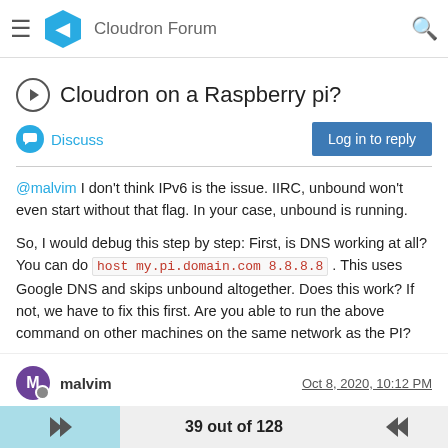Cloudron Forum
Cloudron on a Raspberry pi?
Discuss
Log in to reply
@malvim I don't think IPv6 is the issue. IIRC, unbound won't even start without that flag. In your case, unbound is running.
So, I would debug this step by step: First, is DNS working at all? You can do host my.pi.domain.com 8.8.8.8 . This uses Google DNS and skips unbound altogether. Does this work? If not, we have to fix this first. Are you able to run the above command on other machines on the same network as the PI?
1 Reply
0
malvim
Oct 8, 2020, 10:12 PM
39 out of 128